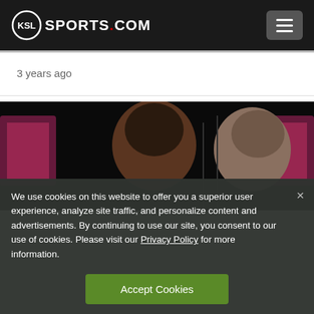KSL Sports.com
3 years ago
[Figure (photo): Two men seen from behind/side at a dark venue with colorful screens in the background]
We use cookies on this website to offer you a superior user experience, analyze site traffic, and personalize content and advertisements. By continuing to use our site, you consent to our use of cookies. Please visit our Privacy Policy for more information.
Accept Cookies